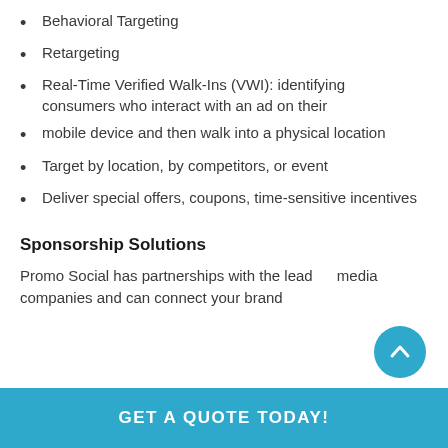Behavioral Targeting
Retargeting
Real-Time Verified Walk-Ins (VWI): identifying consumers who interact with an ad on their
mobile device and then walk into a physical location
Target by location, by competitors, or event
Deliver special offers, coupons, time-sensitive incentives
Sponsorship Solutions
Promo Social has partnerships with the leading media companies and can connect your brand
GET A QUOTE TODAY!